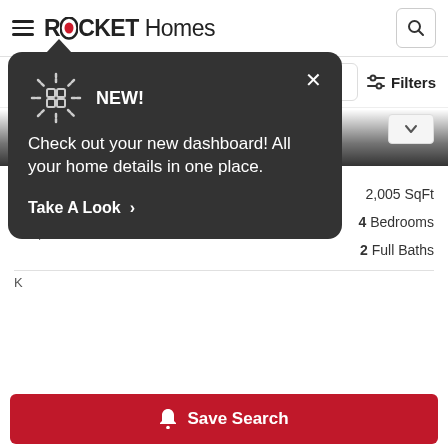ROCKET Homes
[Figure (screenshot): Rocket Homes app header with hamburger menu, ROCKET Homes logo with red O, and search icon button]
[Figure (infographic): Dark tooltip popup with dashed grid icon, NEW! label, message: Check out your new dashboard! All your home details in one place. Take A Look > and X close button]
NEW! Check out your new dashboard! All your home details in one place.
Take A Look >
84 Richards St, West Haven, CT 06516
$400,000
~$1,900/mo.*
2,005 SqFt
4 Bedrooms
2 Full Baths
Save Search